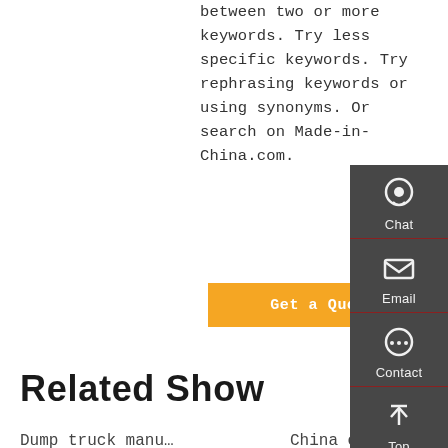between two or more keywords. Try less specific keywords. Try rephrasing keywords or using synonyms. Or search on Made-in-China.com.
Get a Quote
Related Show
Dump truck manu…
China chenglong…